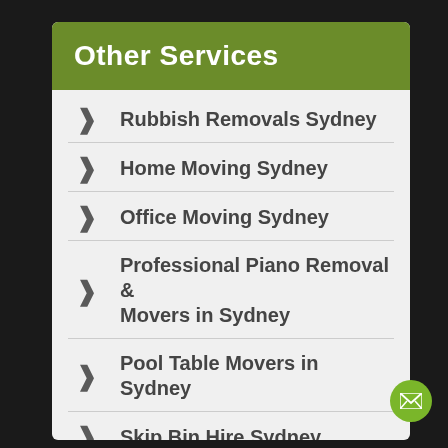Other Services
Rubbish Removals Sydney
Home Moving Sydney
Office Moving Sydney
Professional Piano Removal & Movers in Sydney
Pool Table Movers in Sydney
Skip Bin Hire Sydney
Need Packaging
Few Items